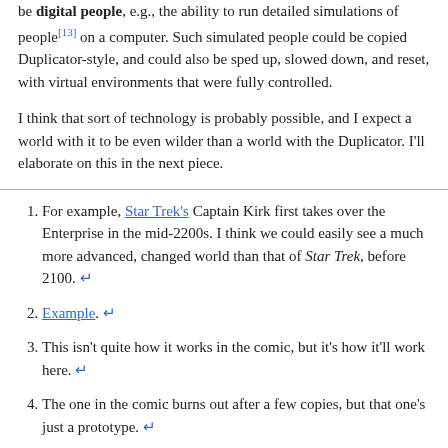be digital people, e.g., the ability to run detailed simulations of people[13] on a computer. Such simulated people could be copied Duplicator-style, and could also be sped up, slowed down, and reset, with virtual environments that were fully controlled.
I think that sort of technology is probably possible, and I expect a world with it to be even wilder than a world with the Duplicator. I'll elaborate on this in the next piece.
For example, Star Trek's Captain Kirk first takes over the Enterprise in the mid-2200s. I think we could easily see a much more advanced, changed world than that of Star Trek, before 2100. ↵
Example. ↵
This isn't quite how it works in the comic, but it's how it'll work here. ↵
The one in the comic burns out after a few copies, but that one's just a prototype. ↵